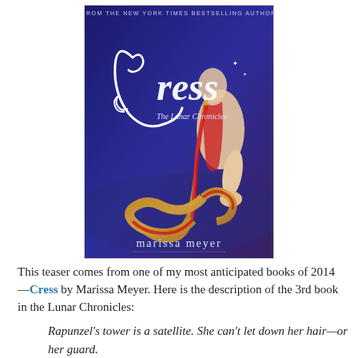[Figure (illustration): Book cover of 'Cress: The Lunar Chronicles' by Marissa Meyer. Dark blue/purple background with a girl with a long braided hair wrapped in red ribbon fabric. Large decorative white lettering 'Cress' with 'The Lunar Chronicles' below. 'marissa meyer' at bottom. Top text: 'FROM THE NEW YORK TIMES BESTSELLING AUTHOR'.]
This teaser comes from one of my most anticipated books of 2014—Cress by Marissa Meyer. Here is the description of the 3rd book in the Lunar Chronicles:
Rapunzel's tower is a satellite. She can't let down her hair—or her guard.